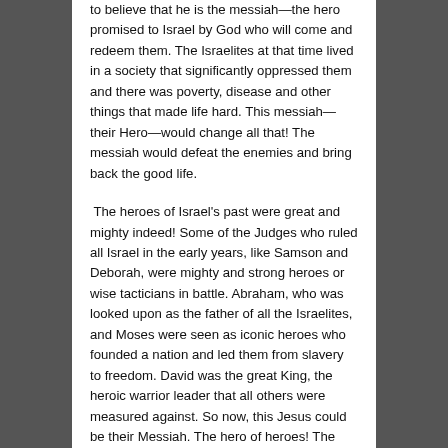to believe that he is the messiah—the hero promised to Israel by God who will come and redeem them. The Israelites at that time lived in a society that significantly oppressed them and there was poverty, disease and other things that made life hard. This messiah—their Hero—would change all that! The messiah would defeat the enemies and bring back the good life.
The heroes of Israel's past were great and mighty indeed! Some of the Judges who ruled all Israel in the early years, like Samson and Deborah, were mighty and strong heroes or wise tacticians in battle. Abraham, who was looked upon as the father of all the Israelites, and Moses were seen as iconic heroes who founded a nation and led them from slavery to freedom. David was the great King, the heroic warrior leader that all others were measured against. So now, this Jesus could be their Messiah. The hero of heroes! The great mighty one that God would send to free them and lead them into all peace and prosperity just as he had promised over and over. A king more powerful than David, stronger